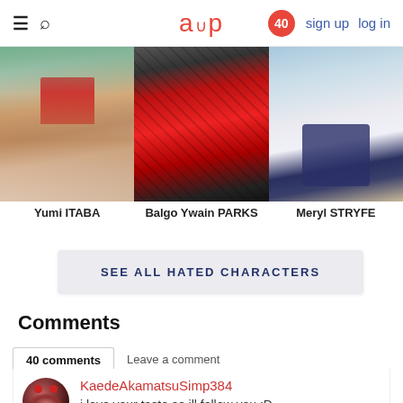aup | sign up | log in | 40
[Figure (illustration): Anime character Yumi ITABA torso shot with red tie and light blue background]
Yumi ITABA
[Figure (illustration): Anime character Balgo Ywain PARKS in red plaid jacket]
Balgo Ywain PARKS
[Figure (illustration): Anime character Meryl STRYFE in white outfit with dark blue bow]
Meryl STRYFE
SEE ALL HATED CHARACTERS
Comments
40 comments | Leave a comment
KaedeAkamatsuSimp384
i love your taste so ill follow you :D